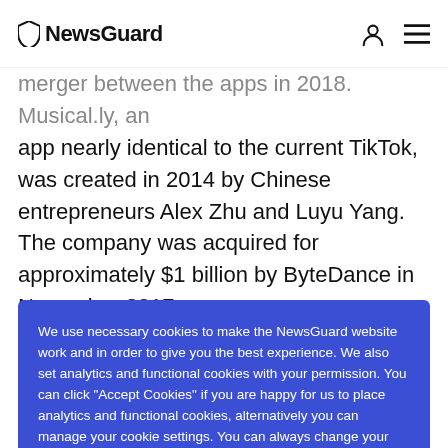NewsGuard
merger between the apps in 2018. Musical.ly, an app nearly identical to the current TikTok, was created in 2014 by Chinese entrepreneurs Alex Zhu and Luyu Yang. The company was acquired for approximately $1 billion by ByteDance in November 2017.
We use necessary cookies to make the NewsGuard website work and in order to give you the best experience. We also set analytics and functional cookies with your permission. You can click "Accept Cookies" if you are happy for us to place analytics and functional cookies, alternatively you can manage your cookie settings. You can always change your mind later. Cookie Notice.
as a separate platform that cannot interact with